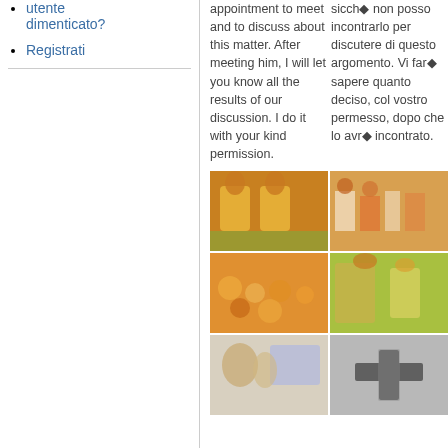utente dimenticato?
Registrati
appointment to meet and to discuss about this matter. After meeting him, I will let you know all the results of our discussion. I do it with your kind permission.
sicché non posso incontrarlo per discutere di questo argomento. Vi farà sapere quanto deciso, col vostro permesso, dopo che lo avrà incontrato.
[Figure (photo): Two men in yellow garlands seated at a ceremony]
[Figure (photo): Group of people at a religious gathering]
[Figure (photo): Large crowd of people seated at an event]
[Figure (photo): Man greeting or blessing a woman in orange]
[Figure (photo): Man with child near a computer]
[Figure (photo): Stone cross carving in black and white]